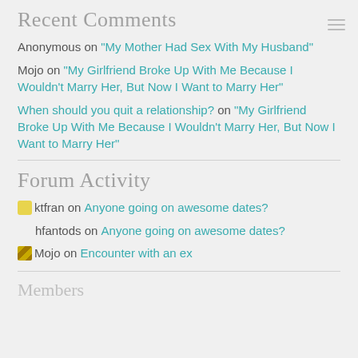Recent Comments
Anonymous on “My Mother Had Sex With My Husband”
Mojo on “My Girlfriend Broke Up With Me Because I Wouldn’t Marry Her, But Now I Want to Marry Her”
When should you quit a relationship? on “My Girlfriend Broke Up With Me Because I Wouldn’t Marry Her, But Now I Want to Marry Her”
Forum Activity
ktfran on Anyone going on awesome dates?
hfantods on Anyone going on awesome dates?
Mojo on Encounter with an ex
Members